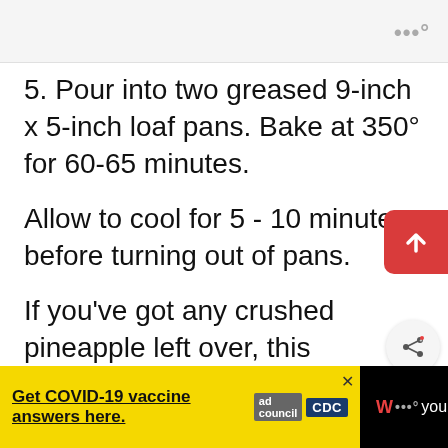[Figure (logo): Dotdash Meredith triple-dot logo in gray at top right]
5. Pour into two greased 9-inch x 5-inch loaf pans. Bake at 350° for 60-65 minutes.
Allow to cool for 5 - 10 minutes before turning out of pans.
If you've got any crushed pineapple left over, this Hawaiian Dream Cake is a great way of using it up!
[Figure (screenshot): Red scroll-up button with white arrow on right edge]
[Figure (screenshot): Share icon button (circular, gray background)]
[Figure (screenshot): What's Next box: Homemade Vanilla Poun... with bread image thumbnail]
[Figure (screenshot): Bottom advertisement bar: yellow CDC COVID-19 vaccine ad, ad council and CDC logos, close button, and site branding text]